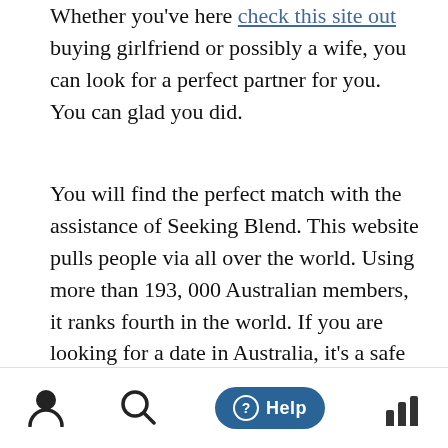Whether you've here [check this site out] buying girlfriend or possibly a wife, you can look for a perfect partner for you. You can glad you did.
You will find the perfect match with the assistance of Seeking Blend. This website pulls people via all over the world. Using more than 193, 000 Australian members, it ranks fourth in the world. If you are looking for a date in Australia, it's a safe and secure place to start a marriage. However , you need to remember that there are no rules in finding a perfect match. Just be honest with yourself! There is no guarantee you'll find someone online.
In Australia, Searching for Arrangement is very popular with many people. With its easy to use user interface, the site provides many benefits. The web site is full of valuable
[Figure (infographic): Bottom navigation bar with person icon, search icon, help button (teal rounded button with question mark and 'Help' text), and bar chart icon]